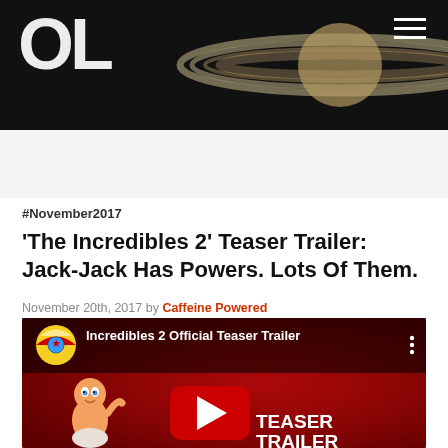OL (website logo/header with Saturn background)
#November2017
'The Incredibles 2' Teaser Trailer: Jack-Jack Has Powers. Lots Of Them.
November 20th, 2017 by Caffeine Powered
[Figure (screenshot): YouTube embedded video thumbnail for 'Incredibles 2 Official Teaser Trailer' showing Jack-Jack baby character on dark red background with YouTube play button and 'TEASER TRAILER' text]